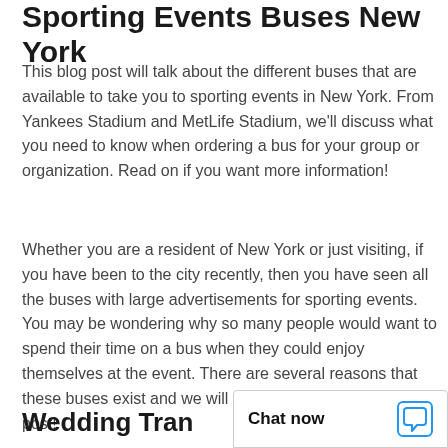Sporting Events Buses New York
This blog post will talk about the different buses that are available to take you to sporting events in New York. From Yankees Stadium and MetLife Stadium, we'll discuss what you need to know when ordering a bus for your group or organization. Read on if you want more information!
Whether you are a resident of New York or just visiting, if you have been to the city recently, then you have seen all the buses with large advertisements for sporting events. You may be wondering why so many people would want to spend their time on a bus when they could enjoy themselves at the event. There are several reasons that these buses exist and we will go over them in this blog post!
Wedding Tran…